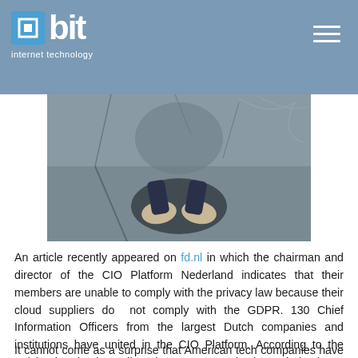bit internet technology
[Figure (photo): Overhead view of a person's feet in shoes standing on a cracked stone/concrete surface]
An article recently appeared on fd.nl in which the chairman and director of the CIO Platform Nederland indicates that their members are unable to comply with the privacy law because their cloud suppliers do not comply with the GDPR. 130 Chief Information Officers from the largest Dutch companies and institutions have united in the CIO Platform. According to the article, the cloud suppliers these 130 organizations do business with are Google, Amazon and Microsoft. The CIOs believe that it is not they who are to blame for their non-compliance with the GDPR, but that their cloud providers are. But is that really the case or can an important part of the blame be found looking in the mirror?
It cannot come as a surprise that American tech companies have different ethics in the field of privacy and personal data